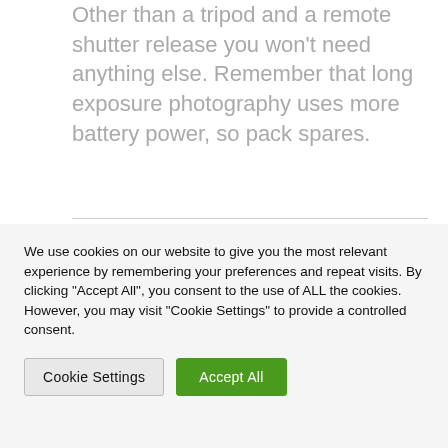Other than a tripod and a remote shutter release you won't need anything else. Remember that long exposure photography uses more battery power, so pack spares.
We use cookies on our website to give you the most relevant experience by remembering your preferences and repeat visits. By clicking "Accept All", you consent to the use of ALL the cookies. However, you may visit "Cookie Settings" to provide a controlled consent.